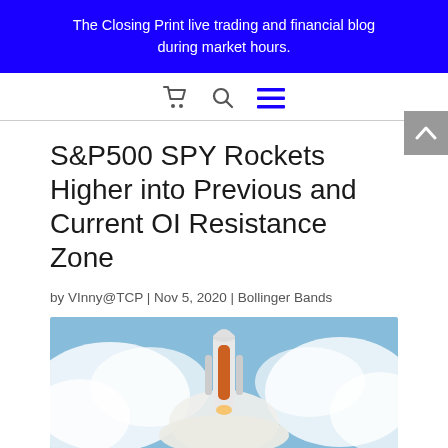The Closing Print live trading and financial blog during market hours.
[Figure (infographic): Navigation bar with cart icon, search icon, and hamburger menu icon]
S&P500 SPY Rockets Higher into Previous and Current OI Resistance Zone
by VInny@TCP | Nov 5, 2020 | Bollinger Bands
[Figure (photo): Space shuttle on launch pad with clouds in background]